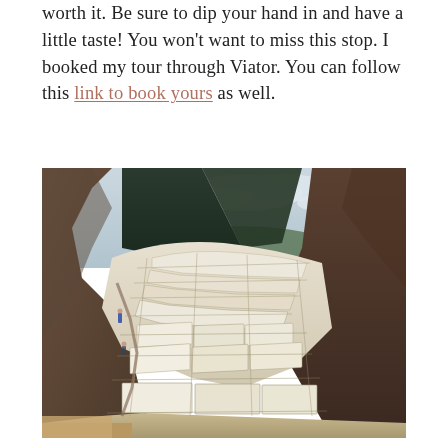worth it. Be sure to dip your hand in and have a little taste! You won't want to miss this stop. I booked my tour through Viator. You can follow this link to book yours as well.
[Figure (photo): Aerial view of the Maras salt terraces (Salineras de Maras) in Peru, showing white salt evaporation ponds carved into a hillside, with brown arid mountains and a cloudy mountain valley in the background.]